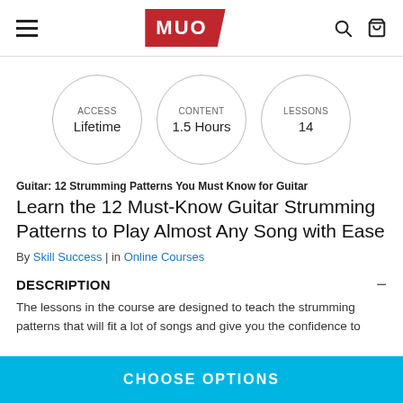MUO
[Figure (infographic): Three circles with course metadata: ACCESS Lifetime, CONTENT 1.5 Hours, LESSONS 14]
Guitar: 12 Strumming Patterns You Must Know for Guitar
Learn the 12 Must-Know Guitar Strumming Patterns to Play Almost Any Song with Ease
By Skill Success | in Online Courses
DESCRIPTION
The lessons in the course are designed to teach the strumming patterns that will fit a lot of songs and give you the confidence to